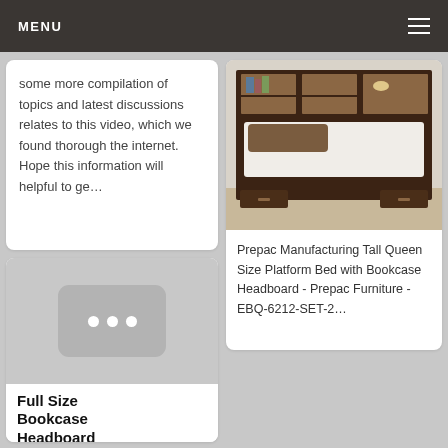MENU
some more compilation of topics and latest discussions relates to this video, which we found thorough the internet. Hope this information will helpful to ge…
[Figure (photo): Loading/placeholder thumbnail with three white dots on grey rounded rectangle background]
Full Size Bookcase Headboard
[Figure (photo): Dark espresso wood queen platform bed with tall bookcase headboard featuring shelves and under-bed storage drawers]
Prepac Manufacturing Tall Queen Size Platform Bed with Bookcase Headboard - Prepac Furniture - EBQ-6212-SET-2…